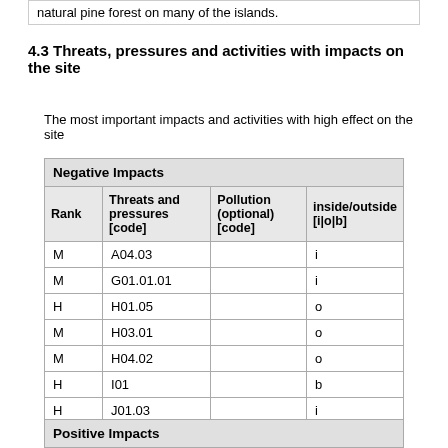natural pine forest on many of the islands.
4.3 Threats, pressures and activities with impacts on the site
The most important impacts and activities with high effect on the site
| Rank | Threats and pressures [code] | Pollution (optional) [code] | inside/outside [i|o|b] |
| --- | --- | --- | --- |
| M | A04.03 |  | i |
| M | G01.01.01 |  | i |
| H | H01.05 |  | o |
| M | H03.01 |  | o |
| M | H04.02 |  | o |
| H | I01 |  | b |
| H | J01.03 |  | i |
| H | K03.04 |  | b |
Positive Impacts